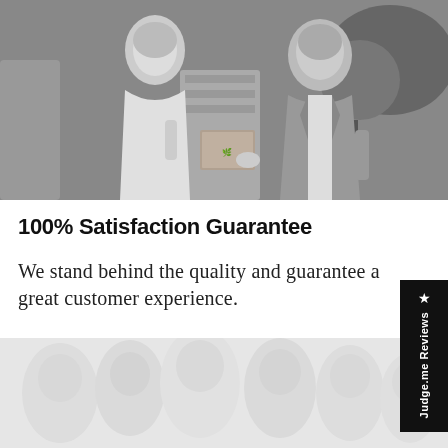[Figure (photo): Black and white photo of two people (a woman in a light dress and a man in a suit jacket) holding or near a wooden box, outdoors with plants in the background.]
100% Satisfaction Guarantee
We stand behind the quality and guarantee a great customer experience.
Learn More
[Figure (photo): Black and white/light gray faded photo of a crowd of people, partially visible at the bottom of the page.]